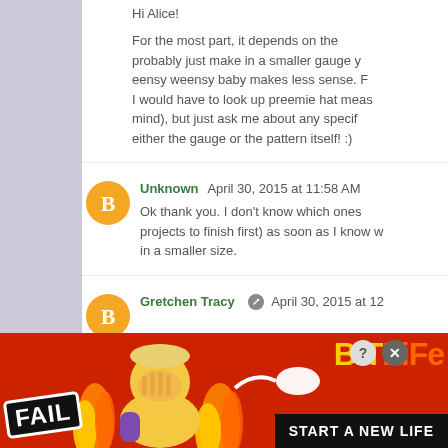Hi Alice!
For the most part, it depends on the probably just make in a smaller gauge y eensy weensy baby makes less sense. F I would have to look up preemie hat meas mind), but just ask me about any specif either the gauge or the pattern itself! :)
Unknown April 30, 2015 at 11:58 AM
Ok thank you. I don't know which ones projects to finish first) as soon as I know in a smaller size.
Gretchen Tracy April 30, 2015 at 12...
[Figure (infographic): Advertisement banner for BitLife game featuring FAIL text, cartoon character, flames, and 'START A NEW LIFE' call to action]